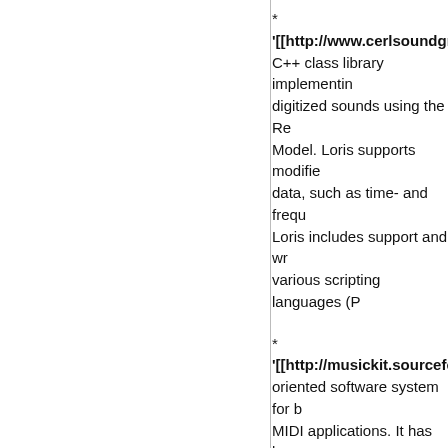* '''[[http://www.cerlsoundgrou... C++ class library implementing digitized sounds using the Re... Model. Loris supports modifie... data, such as time- and frequ... Loris includes support and wr... various scripting languages (...
* '''[[http://musickit.sourceforge... oriented software system for b... MIDI applications. It has been music sequencers, computer ... and students in academia hav... music performance, scientific ... physical modeling. PyObjC is ...
* '''[[http://people.csail.mit.ed... provides Python bindings for ... library. Using PyAudio, you ...